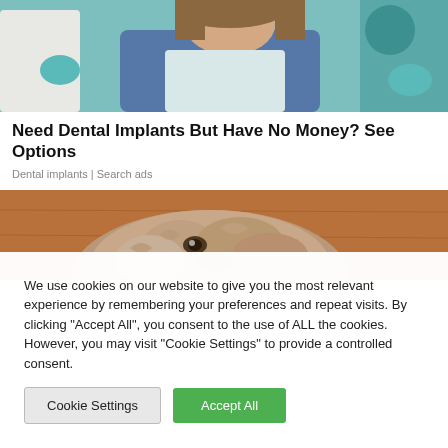[Figure (photo): Woman sitting in a dental chair, smiling, wearing a denim jacket, with a dentist in the background and teal/green dental equipment visible.]
Need Dental Implants But Have No Money? See Options
Dental implants | Search ads
[Figure (photo): Close-up of a shaggy dog resting its chin on a wooden surface, looking sideways with curly fur.]
We use cookies on our website to give you the most relevant experience by remembering your preferences and repeat visits. By clicking “Accept All”, you consent to the use of ALL the cookies. However, you may visit "Cookie Settings" to provide a controlled consent.
Cookie Settings
Accept All